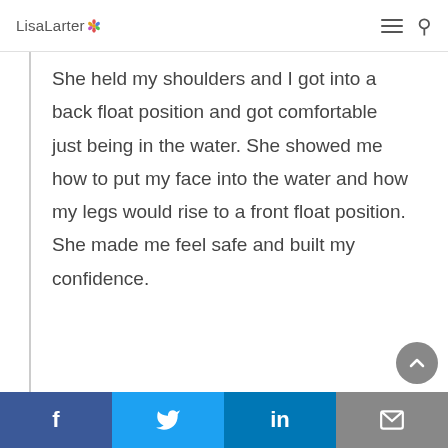LisaLarter
She held my shoulders and I got into a back float position and got comfortable just being in the water. She showed me how to put my face into the water and how my legs would rise to a front float position.

She made me feel safe and built my confidence.
f  Twitter  in  email